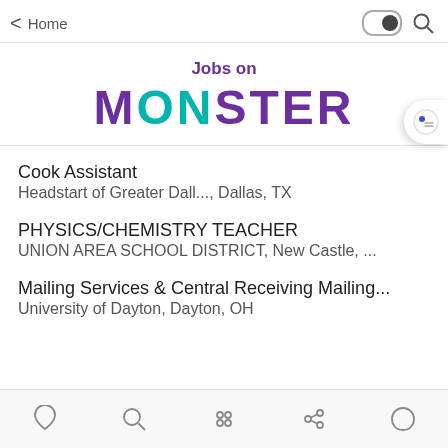< Home
[Figure (screenshot): Jobs on Monster mobile app logo with purple 'Jobs on' text and large Monster wordmark in purple and teal]
Cook Assistant
Headstart of Greater Dall..., Dallas, TX
PHYSICS/CHEMISTRY TEACHER
UNION AREA SCHOOL DISTRICT, New Castle, ...
Mailing Services & Central Receiving Mailing...
University of Dayton, Dayton, OH
Home Search Apps Share Chat